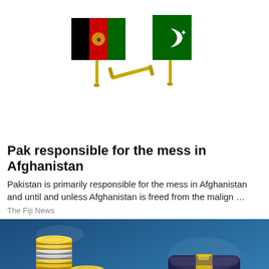[Figure (photo): Two crossed flag pins — Afghanistan flag (black, red, green with emblem) on the left and Pakistan flag (dark green with white crescent and star) on the right — mounted together as a friendship pin badge against a white background.]
Pak responsible for the mess in Afghanistan
Pakistan is primarily responsible for the mess in Afghanistan and until and unless Afghanistan is freed from the malign …
The Fiji News
[Figure (photo): Photo of stacked gold and silver coins on the left side and a dark wooden judge's gavel with a gold band on the right side, set against a blue background — depicting finance and law themes.]